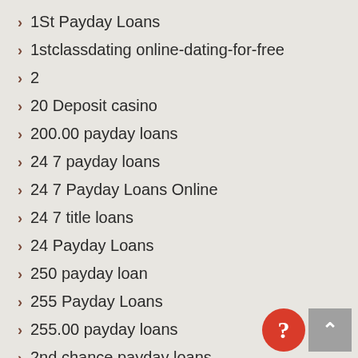1St Payday Loans
1stclassdating online-dating-for-free
2
20 Deposit casino
200.00 payday loans
24 7 payday loans
24 7 Payday Loans Online
24 7 title loans
24 Payday Loans
250 payday loan
255 Payday Loans
255.00 payday loans
2nd chance payday loans
2RedBeans review
3